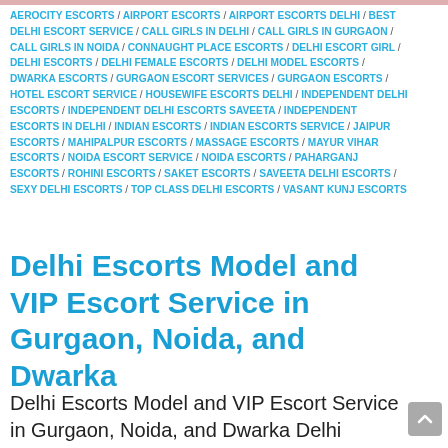[Figure (photo): Partial top image strip (cropped photo)]
AEROCITY ESCORTS / AIRPORT ESCORTS / AIRPORT ESCORTS DELHI / BEST DELHI ESCORT SERVICE / CALL GIRLS IN DELHI / CALL GIRLS IN GURGAON / CALL GIRLS IN NOIDA / CONNAUGHT PLACE ESCORTS / DELHI ESCORT GIRL / DELHI ESCORTS / DELHI FEMALE ESCORTS / DELHI MODEL ESCORTS / DWARKA ESCORTS / GURGAON ESCORT SERVICES / GURGAON ESCORTS / HOTEL ESCORT SERVICE / HOUSEWIFE ESCORTS DELHI / INDEPENDENT DELHI ESCORTS / INDEPENDENT DELHI ESCORTS SAVEETA / INDEPENDENT ESCORTS IN DELHI / INDIAN ESCORTS / INDIAN ESCORTS SERVICE / JAIPUR ESCORTS / MAHIPALPUR ESCORTS / MASSAGE ESCORTS / MAYUR VIHAR ESCORTS / NOIDA ESCORT SERVICE / NOIDA ESCORTS / PAHARGANJ ESCORTS / ROHINI ESCORTS / SAKET ESCORTS / SAVEETA DELHI ESCORTS / SEXY DELHI ESCORTS / TOP CLASS DELHI ESCORTS / VASANT KUNJ ESCORTS
Delhi Escorts Model and VIP Escort Service in Gurgaon, Noida, and Dwarka
Delhi Escorts Model and VIP Escort Service in Gurgaon, Noida, and Dwarka Delhi escorts